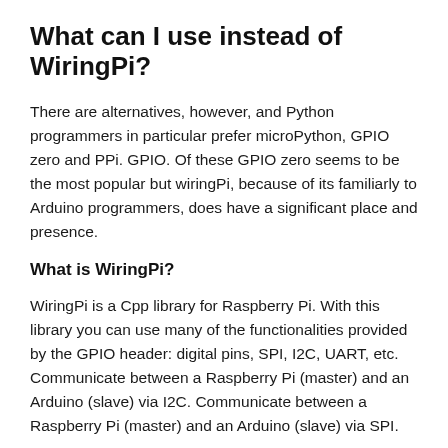What can I use instead of WiringPi?
There are alternatives, however, and Python programmers in particular prefer microPython, GPIO zero and PPi. GPIO. Of these GPIO zero seems to be the most popular but wiringPi, because of its familiarly to Arduino programmers, does have a significant place and presence.
What is WiringPi?
WiringPi is a Cpp library for Raspberry Pi. With this library you can use many of the functionalities provided by the GPIO header: digital pins, SPI, I2C, UART, etc. Communicate between a Raspberry Pi (master) and an Arduino (slave) via I2C. Communicate between a Raspberry Pi (master) and an Arduino (slave) via SPI.